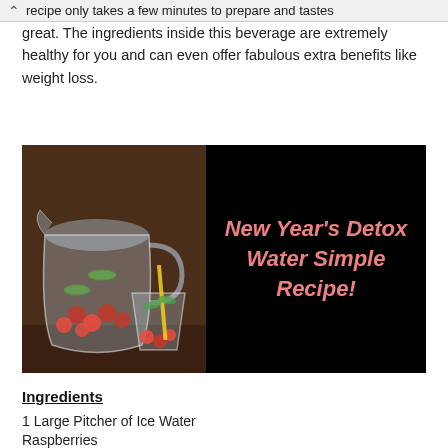recipe only takes a few minutes to prepare and tastes great.
recipe only takes a few minutes to prepare and tastes great. The ingredients inside this beverage are extremely healthy for you and can even offer fabulous extra benefits like weight loss.
[Figure (photo): Left half: photo of a glass pitcher and drinking glass filled with detox water containing raspberries, cucumber slices, and mint on a dark wooden surface. Right half: black background with pink italic bold text reading 'New Year's Detox Water Simple Recipe!']
Ingredients
1 Large Pitcher of Ice Water
Raspberries